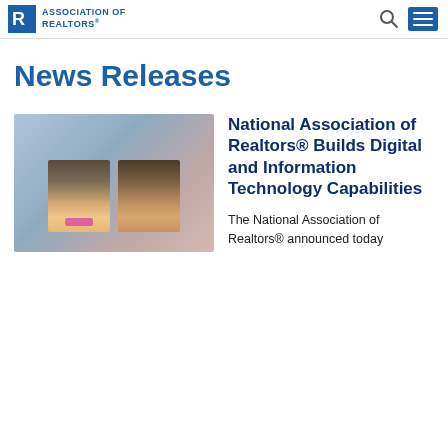ASSOCIATION OF REALTORS®
News Releases
[Figure (photo): Two headshot photos of men against a blurred blue-grey background. Left person wears glasses and a pink bow tie; right person has dark hair.]
National Association of Realtors® Builds Digital and Information Technology Capabilities
The National Association of Realtors® announced today